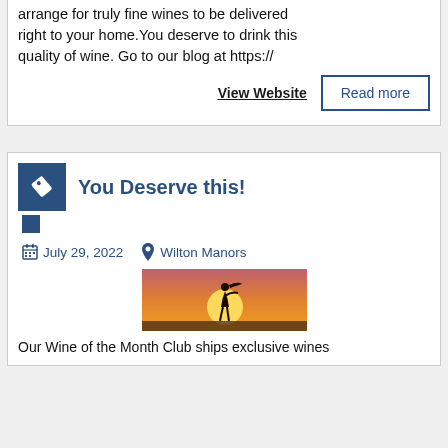arrange for truly fine wines to be delivered right to your home. You deserve to drink this quality of wine. Go to our blog at https://
View Website
Read more
You Deserve this!
July 29, 2022
Wilton Manors
[Figure (photo): Silhouette of a person with arms outstretched against a sunset with a large sun and orange/pink sky]
Our Wine of the Month Club ships exclusive wines